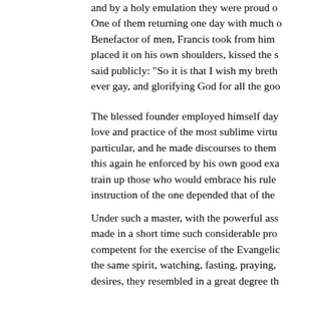and by a holy emulation they were proud o One of them returning one day with much o Benefactor of men, Francis took from him placed it on his own shoulders, kissed the s said publicly: "So it is that I wish my breth ever gay, and glorifying God for all the goo
The blessed founder employed himself day love and practice of the most sublime virtu particular, and he made discourses to them this again he enforced by his own good exa train up those who would embrace his rule instruction of the one depended that of the
Under such a master, with the powerful ass made in a short time such considerable pro competent for the exercise of the Evangelic the same spirit, watching, fasting, praying, desires, they resembled in a great degree th